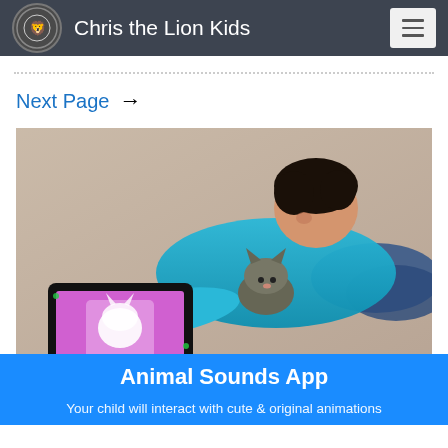Chris the Lion Kids
Next Page →
[Figure (photo): A young boy lying on carpet, leaning close to a small kitten, holding a tablet with a pink/purple screen showing an animal app. The boy is wearing a blue shirt and jeans.]
Animal Sounds App
Your child will interact with cute & original animations